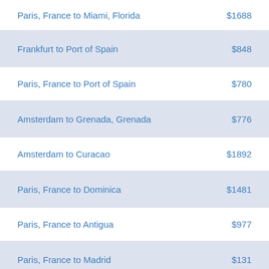| Route | Price |
| --- | --- |
| Paris, France to Miami, Florida | $1688 |
| Frankfurt to Port of Spain | $848 |
| Paris, France to Port of Spain | $780 |
| Amsterdam to Grenada, Grenada | $776 |
| Amsterdam to Curacao | $1892 |
| Paris, France to Dominica | $1481 |
| Paris, France to Antigua | $977 |
| Paris, France to Madrid | $131 |